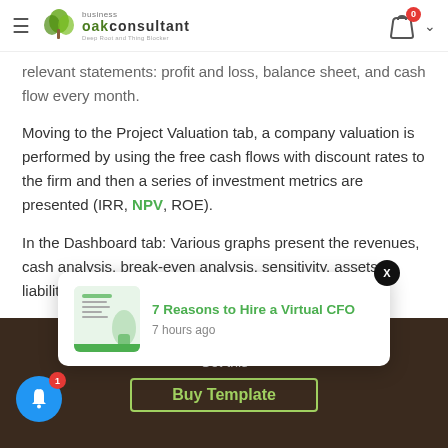Oak Business Consultant — navigation bar
relevant statements: profit and loss, balance sheet, and cash flow every month.
Moving to the Project Valuation tab, a company valuation is performed by using the free cash flows with discount rates to the firm and then a series of investment metrics are presented (IRR, NPV, ROE).
In the Dashboard tab: Various graphs present the revenues, cash analysis, break-even analysis, sensitivity, assets vs liabilities, startup summary, etc.
Key Inputs of Funeral Service Excel
[Figure (screenshot): Browser notification popup: '7 Reasons to Hire a Virtual CFO' with thumbnail image and '7 hours ago' timestamp, and close button X]
Get this
Buy Template